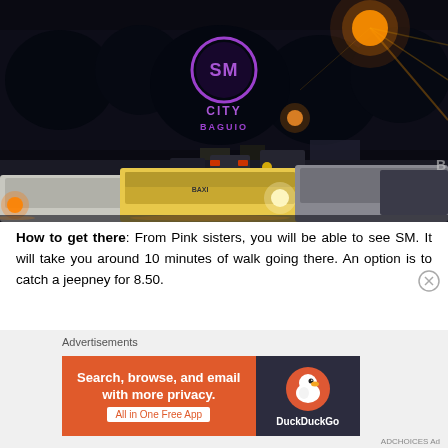[Figure (photo): Nighttime street scene in Baguio, Philippines showing heavy traffic with cars on a wet road. In the background, an illuminated SM City Baguio sign glows in purple/violet neon. Bright orange street lights and car headlights are visible.]
How to get there: From Pink sisters, you will be able to see SM. It will take you around 10 minutes of walk going there. An option is to catch a jeepney for 8.50.
Advertisements
[Figure (screenshot): DuckDuckGo advertisement banner: 'Search, browse, and email with more privacy. All in One Free App' with DuckDuckGo logo on dark background.]